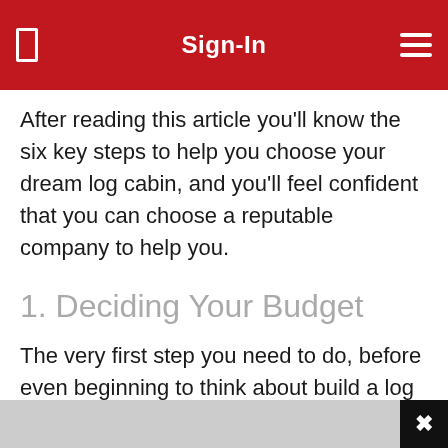Sign-In
After reading this article you'll know the six key steps to help you choose your dream log cabin, and you'll feel confident that you can choose a reputable company to help you.
1. Deciding Your Budget
The very first step you need to do, before even beginning to think about build a log cabin, is to decide on your budget. For most of us, that means sitting down to work out how much we can